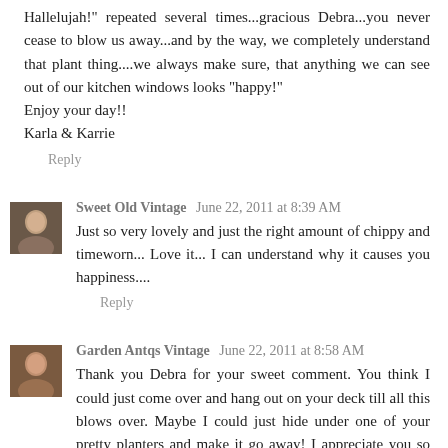Hallelujah!" repeated several times...gracious Debra...you never cease to blow us away...and by the way, we completely understand that plant thing....we always make sure, that anything we can see out of our kitchen windows looks "happy!"
Enjoy your day!!
Karla & Karrie
Reply
Sweet Old Vintage  June 22, 2011 at 8:39 AM
Just so very lovely and just the right amount of chippy and timeworn... Love it... I can understand why it causes you happiness....
Reply
Garden Antqs Vintage  June 22, 2011 at 8:58 AM
Thank you Debra for your sweet comment. You think I could just come over and hang out on your deck till all this blows over. Maybe I could just hide under one of your pretty planters and make it go away! I appreciate you so much.